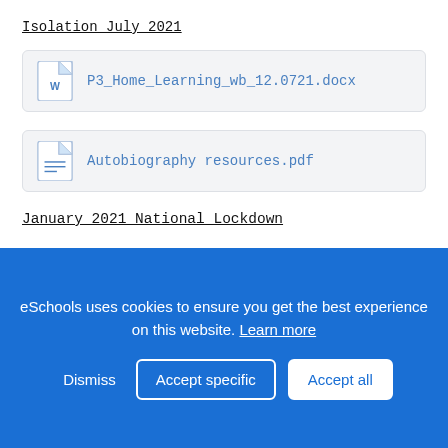Isolation July 2021
[Figure (other): File attachment box: Word document icon with filename P3_Home_Learning_wb_12.0721.docx]
[Figure (other): File attachment box: PDF document icon with filename Autobiography resources.pdf]
January 2021 National Lockdown
Class P3 (KS3)
Each week we will upload a learning grid onto this page. This grid will have 3 lessons a day for them to complete. There will be links for each lesson to the Oak Academy website where the video will take your child through the lesson and will tell the child how to complete the activities. Please let us know if you feel
eSchools uses cookies to ensure you get the best experience on this website. Learn more
Dismiss   Accept specific   Accept all